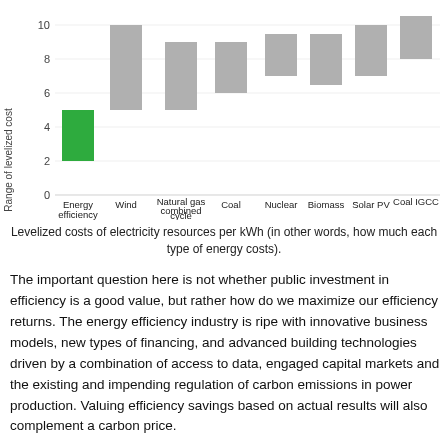[Figure (bar-chart): Range of levelized costs of electricity resources per kWh]
Levelized costs of electricity resources per kWh (in other words, how much each type of energy costs).
The important question here is not whether public investment in efficiency is a good value, but rather how do we maximize our efficiency returns. The energy efficiency industry is ripe with innovative business models, new types of financing, and advanced building technologies driven by a combination of access to data, engaged capital markets and the existing and impending regulation of carbon emissions in power production. Valuing efficiency savings based on actual results will also complement a carbon price.